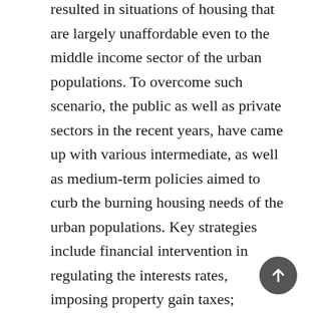resulted in situations of housing that are largely unaffordable even to the middle income sector of the urban populations. To overcome such scenario, the public as well as private sectors in the recent years, have came up with various intermediate, as well as medium-term policies aimed to curb the burning housing needs of the urban populations. Key strategies include financial intervention in regulating the interests rates, imposing property gain taxes; loosening the requirement for density and other planning requirements, faster approval of projects, compulsory contribution from developers, etc. Some of the policies are commendable, while others are ad-hoc by nature, and are not able to resolve the long-term socio-economic challenges. This paper discusses and examines the issues from the 'sustainability' perspective, focusing on key fiscal, land use and